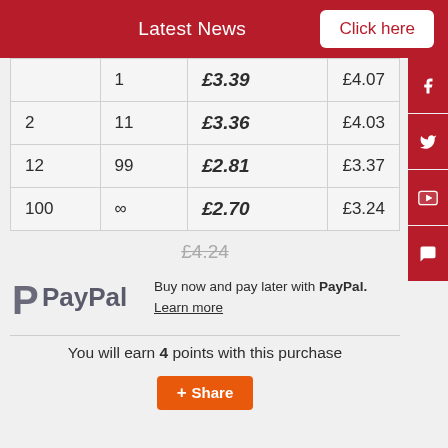Latest News   Click here
|  |  |  |  |
| --- | --- | --- | --- |
|  | 1 | £3.39 | £4.07 |
| 2 | 11 | £3.36 | £4.03 |
| 12 | 99 | £2.81 | £3.37 |
| 100 | ∞ | £2.70 | £3.24 |
£4.24 (strikethrough)
Buy now and pay later with PayPal. Learn more
You will earn 4 points with this purchase
Share